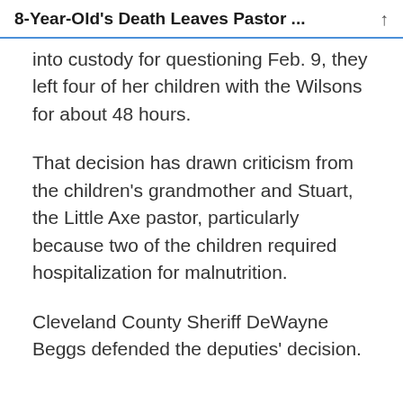8-Year-Old's Death Leaves Pastor ...
into custody for questioning Feb. 9, they left four of her children with the Wilsons for about 48 hours.
That decision has drawn criticism from the children's grandmother and Stuart, the Little Axe pastor, particularly because two of the children required hospitalization for malnutrition.
Cleveland County Sheriff DeWayne Beggs defended the deputies' decision.